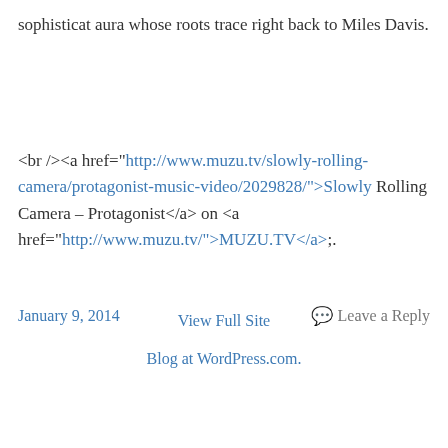sophisticat aura whose roots trace right back to Miles Davis.
<br /><a href="http://www.muzu.tv/slowly-rolling-camera/protagonist-music-video/2029828/">Slowly Rolling Camera – Protagonist</a> on <a href="http://www.muzu.tv/">MUZU.TV</a&gt;.
January 9, 2014
Leave a Reply
View Full Site
Blog at WordPress.com.